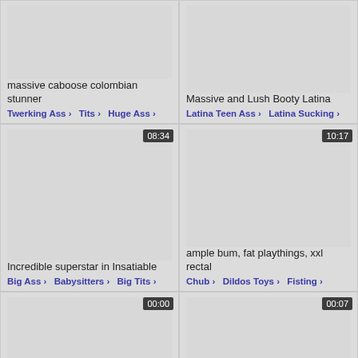[Figure (screenshot): Video thumbnail placeholder top-left, no duration shown]
massive caboose colombian stunner
Twerking Ass › Tits › Huge Ass ›
[Figure (screenshot): Video thumbnail placeholder top-right, no duration shown]
Massive and Lush Booty Latina
Latina Teen Ass › Latina Sucking
[Figure (screenshot): Video thumbnail placeholder middle-left, duration 08:34]
Incredible superstar in Insatiable
Big Ass › Babysitters › Big Tits ›
[Figure (screenshot): Video thumbnail placeholder middle-right, duration 10:17]
ample bum, fat playthings, xxl rectal
Chub › Dildos Toys › Fisting ›
[Figure (screenshot): Video thumbnail placeholder bottom-left, duration 00:00]
xxl bootie thick bosoms thick
[Figure (screenshot): Video thumbnail placeholder bottom-right, duration 00:07]
Phat booty